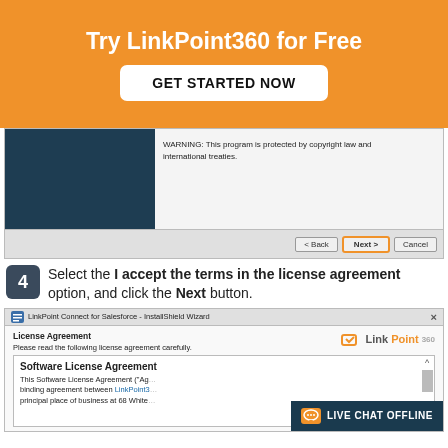Try LinkPoint360 for Free
GET STARTED NOW
[Figure (screenshot): InstallShield wizard screenshot showing a dark blue panel on the left and copyright warning text on the right, with Back, Next, and Cancel buttons at the bottom. Next button is highlighted with an orange border.]
Select the I accept the terms in the license agreement option, and click the Next button.
[Figure (screenshot): LinkPoint Connect for Salesforce InstallShield Wizard - License Agreement screen showing the Software License Agreement text box with LinkPoint360 logo. A Live Chat Offline bar overlaps the bottom right.]